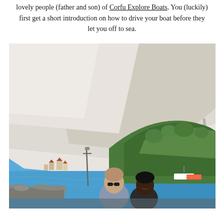lovely people (father and son) of Corfu Explore Boats. You (luckily) first get a short introduction on how to drive your boat before they let you off to sea.
[Figure (photo): Two people on a boat under a white canopy/sunshade, with turquoise sea, green hillside, and blue sky in the background. A man wearing sunglasses and a woman are visible at the stern of the boat.]